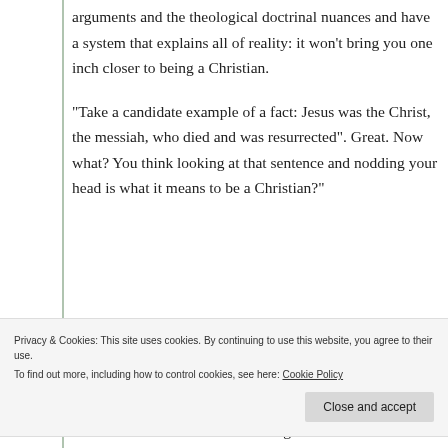arguments and the theological doctrinal nuances and have a system that explains all of reality: it won't bring you one inch closer to being a Christian.
“Take a candidate example of a fact: Jesus was the Christ, the messiah, who died and was resurrected”. Great. Now what? You think looking at that sentence and nodding your head is what it means to be a Christian?”
Privacy & Cookies: This site uses cookies. By continuing to use this website, you agree to their use.
To find out more, including how to control cookies, see here: Cookie Policy
Close and accept
Resurrection has about as much significance as the